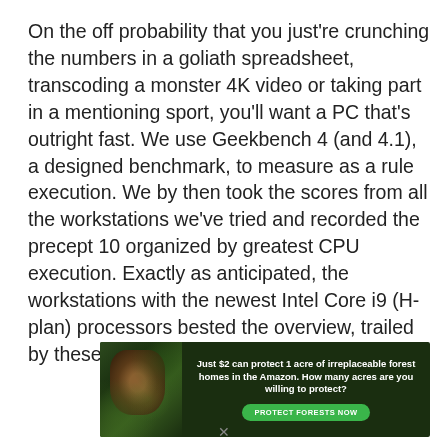On the off probability that you just're crunching the numbers in a goliath spreadsheet, transcoding a monster 4K video or taking part in a mentioning sport, you'll want a PC that's outright fast. We use Geekbench 4 (and 4.1), a designed benchmark, to measure as a rule execution. We by then took the scores from all the workstations we've tried and recorded the precept 10 organized by greatest CPU execution. Exactly as anticipated, the workstations with the newest Intel Core i9 (H-plan) processors bested the overview, trailed by these with Core i7 CPUs.
[Figure (infographic): Advertisement banner with dark green forest background and an orangutan image on the left. Text reads: 'Just $2 can protect 1 acre of irreplaceable forest homes in the Amazon. How many acres are you willing to protect?' with a green 'PROTECT FORESTS NOW' button.]